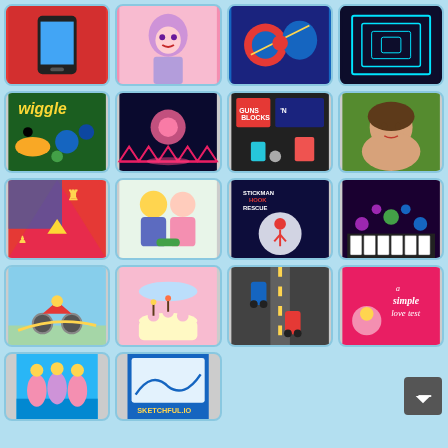[Figure (screenshot): Grid of game thumbnails in a mobile game portal page, 4 columns x 5 rows, with a back-to-top button]
[Figure (screenshot): Phone/mobile device game thumbnail - row 1]
[Figure (screenshot): Colorful dress-up girl with purple hair - row 1]
[Figure (screenshot): Spider-Man style action game - row 1]
[Figure (screenshot): Neon geometric art game - row 1]
[Figure (screenshot): Wiggle game with snake characters - row 2]
[Figure (screenshot): Neon ball game on dark background - row 2]
[Figure (screenshot): Guns N Blocks game - row 2]
[Figure (screenshot): Woman portrait photo - row 2]
[Figure (screenshot): Map strategy game - row 3]
[Figure (screenshot): Cartoon couple characters - row 3]
[Figure (screenshot): Stickman Hook Rescue game - row 3]
[Figure (screenshot): Magic piano tiles game - row 3]
[Figure (screenshot): Bike racing game - row 4]
[Figure (screenshot): Birthday cake game - row 4]
[Figure (screenshot): Car racing road game - row 4]
[Figure (screenshot): A Simple Love Test game - row 4]
[Figure (screenshot): Pool party game - row 5]
[Figure (screenshot): Sketchful.io game - row 5]